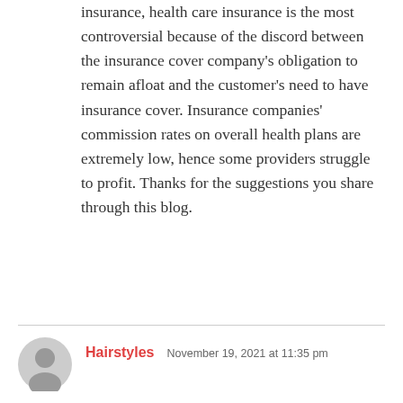insurance, health care insurance is the most controversial because of the discord between the insurance cover company's obligation to remain afloat and the customer's need to have insurance cover. Insurance companies' commission rates on overall health plans are extremely low, hence some providers struggle to profit. Thanks for the suggestions you share through this blog.
REPLY
Hairstyles  November 19, 2021 at 11:35 pm